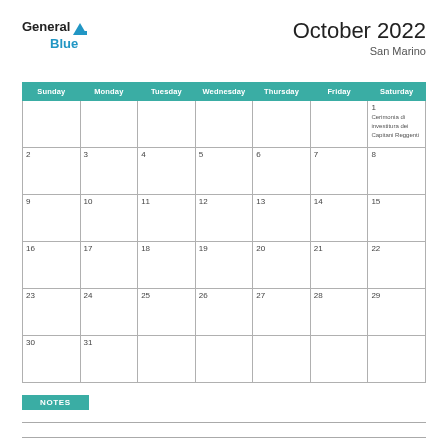[Figure (logo): General Blue logo with sail icon]
October 2022
San Marino
| Sunday | Monday | Tuesday | Wednesday | Thursday | Friday | Saturday |
| --- | --- | --- | --- | --- | --- | --- |
|  |  |  |  |  |  | 1
Cerimonia di investitura dei Capitani Reggenti |
| 2 | 3 | 4 | 5 | 6 | 7 | 8 |
| 9 | 10 | 11 | 12 | 13 | 14 | 15 |
| 16 | 17 | 18 | 19 | 20 | 21 | 22 |
| 23 | 24 | 25 | 26 | 27 | 28 | 29 |
| 30 | 31 |  |  |  |  |  |
NOTES